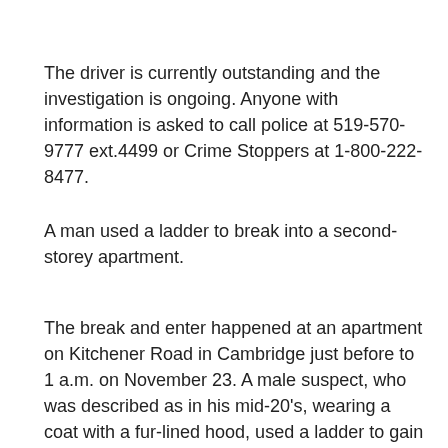The driver is currently outstanding and the investigation is ongoing. Anyone with information is asked to call police at 519-570-9777 ext.4499 or Crime Stoppers at 1-800-222-8477.
A man used a ladder to break into a second-storey apartment.
The break and enter happened at an apartment on Kitchener Road in Cambridge just before to 1 a.m. on November 23. A male suspect, who was described as in his mid-20's, wearing a coat with a fur-lined hood, used a ladder to gain access into an upper apartment unit. The homeowner confronted the male and he fled. There were no injuries and police are continuing to investigate. Anyone with information is requested to call the Waterloo Regional Police Service at